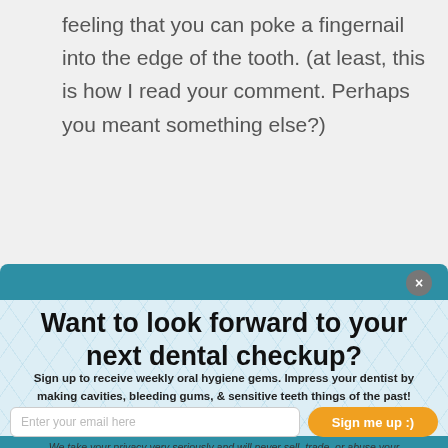feeling that you can poke a fingernail into the edge of the tooth. (at least, this is how I read your comment. Perhaps you meant something else?)
Want to look forward to your next dental checkup?
Sign up to receive weekly oral hygiene gems. Impress your dentist by making cavities, bleeding gums, & sensitive teeth things of the past!
We take your privacy very seriously and will never sell, trade, or abuse your information.